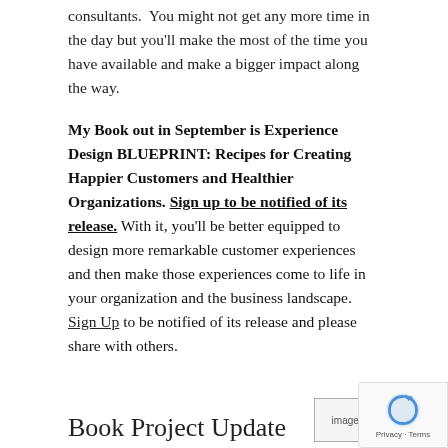consultants.  You might not get any more time in the day but you'll make the most of the time you have available and make a bigger impact along the way.
My Book out in September is Experience Design BLUEPRINT: Recipes for Creating Happier Customers and Healthier Organizations. Sign up to be notified of its release. With it, you'll be better equipped to design more remarkable customer experiences and then make those experiences come to life in your organization and the business landscape. Sign Up to be notified of its release and please share with others.
Book Project Update
The Experience Design
[Figure (photo): image of one page]